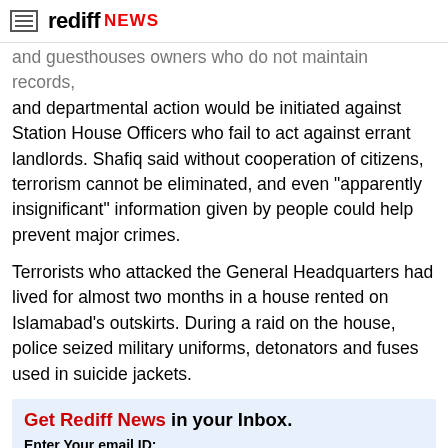rediff NEWS
and guesthouses owners who do not maintain records, and departmental action would be initiated against Station House Officers who fail to act against errant landlords. Shafiq said without cooperation of citizens, terrorism cannot be eliminated, and even "apparently insignificant" information given by people could help prevent major crimes.
Terrorists who attacked the General Headquarters had lived for almost two months in a house rented on Islamabad's outskirts. During a raid on the house, police seized military uniforms, detonators and fuses used in suicide jackets.
Get Rediff News in your Inbox.
Enter Your email ID:
[Keep Me Updated]
M Zulqernain in Lahore
Source: PTI
© Copyright 2022 PTI. All rights reserved. Republication or redistribution of PTI